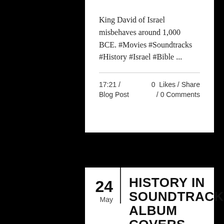King David of Israel misbehaves around 1,000 BCE. #Movies #Soundtracks #History #Israel #Bible ...
17:21 / Blog Post
0 Likes / Share / 0 Comments
24 May
HISTORY IN SOUNDTRACK ALBUM COVERS